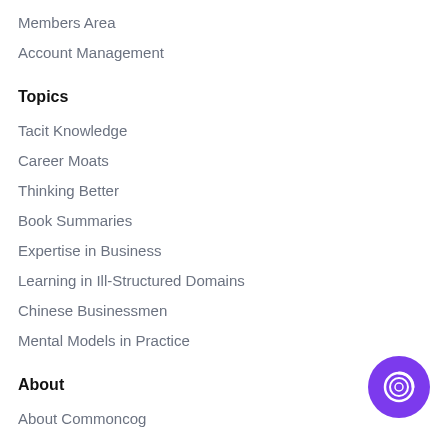Members Area
Account Management
Topics
Tacit Knowledge
Career Moats
Thinking Better
Book Summaries
Expertise in Business
Learning in Ill-Structured Domains
Chinese Businessmen
Mental Models in Practice
About
About Commoncog
[Figure (logo): Purple circular button with a white swirl/loading icon]